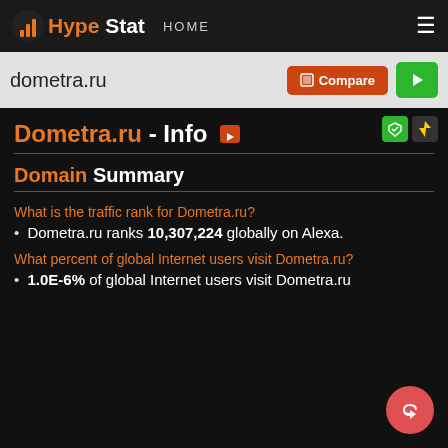HypeStat HOME
dometra.ru
Dometra.ru - Info
Domain Summary
What is the traffic rank for Dometra.ru?
Dometra.ru ranks 10,307,224 globally on Alexa.
What percent of global Internet users visit Dometra.ru?
1.0E-6% of global Internet users visit Dometra.ru